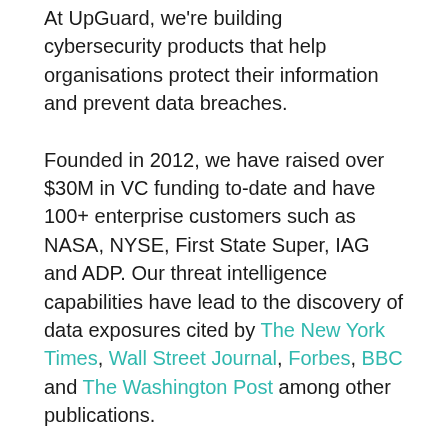At UpGuard, we're building cybersecurity products that help organisations protect their information and prevent data breaches.

Founded in 2012, we have raised over $30M in VC funding to-date and have 100+ enterprise customers such as NASA, NYSE, First State Super, IAG and ADP. Our threat intelligence capabilities have lead to the discovery of data exposures cited by The New York Times, Wall Street Journal, Forbes, BBC and The Washington Post among other publications.

With offices in Mountain View, CA and Sydney, Australia, we're a global team of ~40